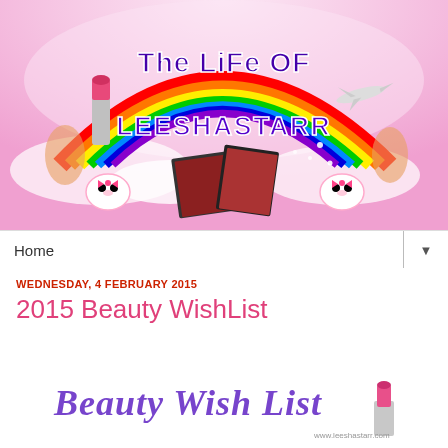[Figure (illustration): Blog header banner for 'The Life of LeeshaStarr' with pink background, rainbow, lipstick, Hello Kitty icons, photos of a person, and an airplane.]
Home ▼
WEDNESDAY, 4 FEBRUARY 2015
2015 Beauty WishList
[Figure (illustration): Decorative 'Beauty Wish List' text in cursive purple/blue font with a pink lipstick graphic and 'www.leeshastarr.com' watermark.]